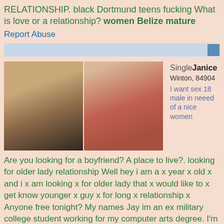RELATIONSHIP. black Dortmund teens fucking What is love or a relationship? women Belize mature
Report Abuse
[Figure (photo): Two side-by-side photos of women]
Single Janice
Winton, 84904
I want sex 18 male in neeed of a nice women
Are you looking for a boyfriend? A place to live?. looking for older lady relationship Well hey i am a x year x old x and i x am looking x for older lady that x would like to x get know younger x guy x for long x relationship x Anyone free tonight? My names Jay im an ex military college student working for my computer arts degree. I'm looking for a cool chic( age dosn't matter) that's in to
[Figure (photo): Photo of a woman at the bottom of the page]